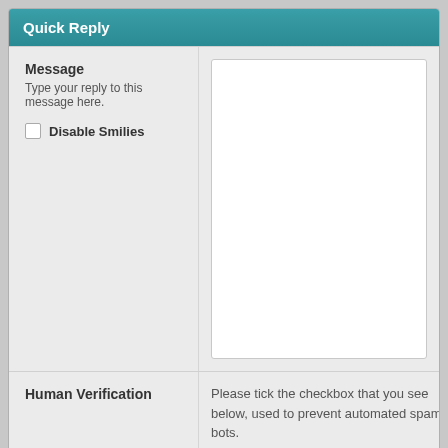Quick Reply
Message
Type your reply to this message here.
Disable Smilies
[Figure (screenshot): Text area input box for message reply]
Human Verification
Please tick the checkbox that you see below, used to prevent automated spam bots.
[Figure (screenshot): reCAPTCHA checkbox with label I'm not a robot]
Post R
Messages In This Thread